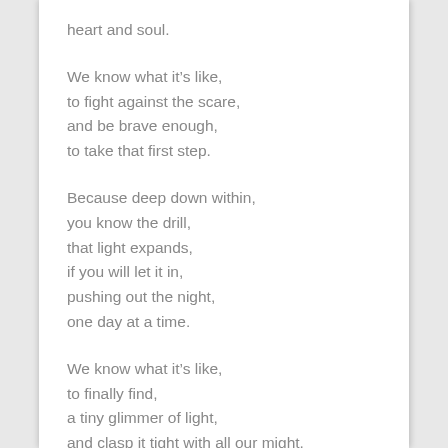heart and soul.
We know what it’s like,
to fight against the scare,
and be brave enough,
to take that first step.
Because deep down within,
you know the drill,
that light expands,
if you will let it in,
pushing out the night,
one day at a time.
We know what it’s like,
to finally find,
a tiny glimmer of light,
and clasp it tight with all our might.
Then feel it ease,